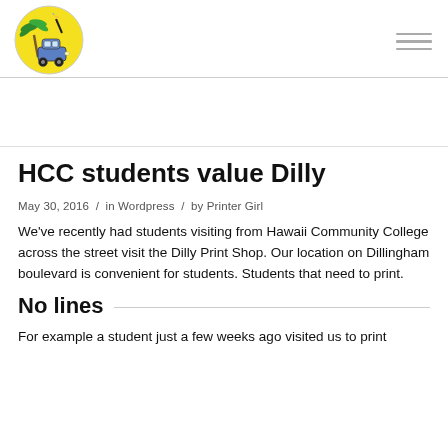[Figure (logo): Dilly Print Shop logo: cartoon car with palm tree on yellow circle background]
HCC students value Dilly
May 30, 2016  /  in Wordpress  /  by Printer Girl
We've recently had students visiting from Hawaii Community College across the street visit the Dilly Print Shop. Our location on Dillingham boulevard is convenient for students. Students that need to print.
No lines
For example a student just a few weeks ago visited us to print